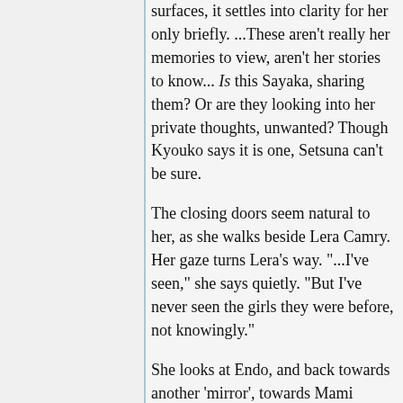surfaces, it settles into clarity for her only briefly. ...These aren't really her memories to view, aren't her stories to know... Is this Sayaka, sharing them? Or are they looking into her private thoughts, unwanted? Though Kyouko says it is one, Setsuna can't be sure.
The closing doors seem natural to her, as she walks beside Lera Camry. Her gaze turns Lera's way. "...I've seen," she says quietly. "But I've never seen the girls they were before, not knowingly."
She looks at Endo, and back towards another 'mirror', towards Mami Tomoe in a seat, holding something small... Something plush? What is it about this...?
"...The music stopped," Passion murmurs quietly, as her turning gaze settles on Mikoto, for a moment...